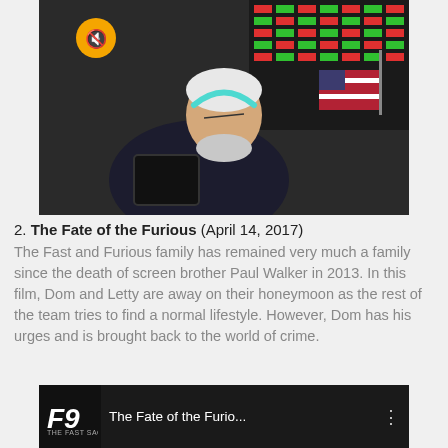[Figure (photo): An older man with white hair and beard looking upward, holding a tablet, with colorful stock ticker screens in the background and an American flag. A mute icon and loading spinner overlay visible in the top-left of the image.]
2. The Fate of the Furious (April 14, 2017)
The Fast and Furious family has remained very much a family since the death of screen brother Paul Walker in 2013. In this film, Dom and Letty are away on their honeymoon as the rest of the team tries to find a normal lifestyle. However, Dom has his urges and is brought back to the world of crime.
[Figure (screenshot): Video thumbnail for The Fate of the Furio... with F9 The Fast Saga logo on the left and a three-dot menu icon on the right, dark background.]